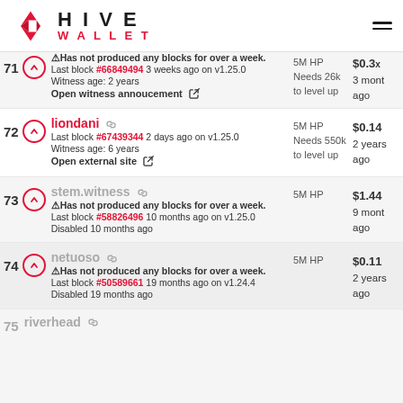[Figure (logo): Hive Wallet logo with red diamond chevron icon and HIVE WALLET text]
71 - partial row: Has not produced any blocks for over a week. Last block #66849494 3 weeks ago on v1.25.0. Witness age: 2 years. Open witness annoucement. 5M HP, Needs 26k to level up, $0.3x, 3 months ago
72 liondani - Last block #67439344 2 days ago on v1.25.0. Witness age: 6 years. Open external site. 5M HP, Needs 550k to level up, $0.14, 2 years ago
73 stem.witness - Has not produced any blocks for over a week. Last block #58826496 10 months ago on v1.25.0. Disabled 10 months ago. 5M HP, $1.44, 9 months ago
74 netuoso - Has not produced any blocks for over a week. Last block #50589661 19 months ago on v1.24.4. Disabled 19 months ago. 5M HP, $0.11, 2 years ago
75 riverhead - partial, name only visible